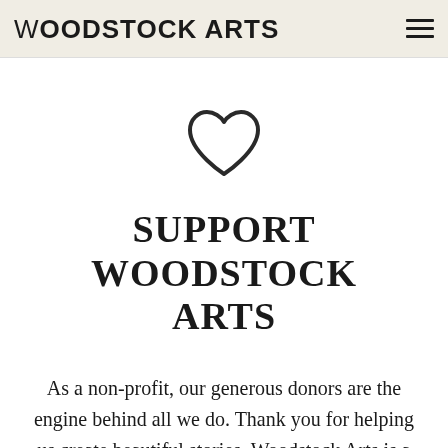WOODSTOCK ARTS
[Figure (illustration): Outline heart icon, centered on page]
SUPPORT WOODSTOCK ARTS
As a non-profit, our generous donors are the engine behind all we do. Thank you for helping us create beautiful stories. Woodstock Arts is a 501(c)3